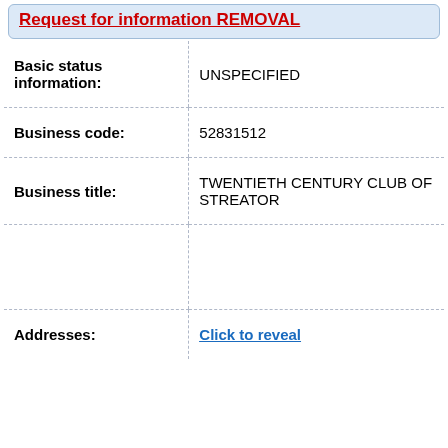Request for information REMOVAL
| Field | Value |
| --- | --- |
| Basic status information: | UNSPECIFIED |
| Business code: | 52831512 |
| Business title: | TWENTIETH CENTURY CLUB OF STREATOR |
|  |  |
| Addresses: | Click to reveal |